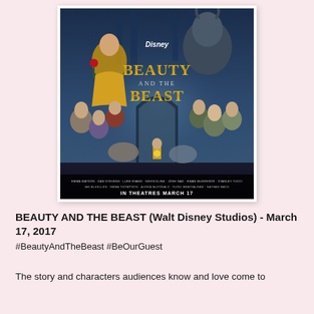[Figure (illustration): Movie poster for Beauty and the Beast (Disney, 2017). Shows the title in gold/yellow lettering with Disney logo above. Main characters including Belle, the Beast, and ensemble cast arranged in a blue-toned fantasy castle setting. Woman holds red rose. Text at bottom reads 'IN THEATRES MARCH 17'.]
BEAUTY AND THE BEAST (Walt Disney Studios) - March 17, 2017
#BeautyAndTheBeast #BeOurGuest
The story and characters audiences know and love come to